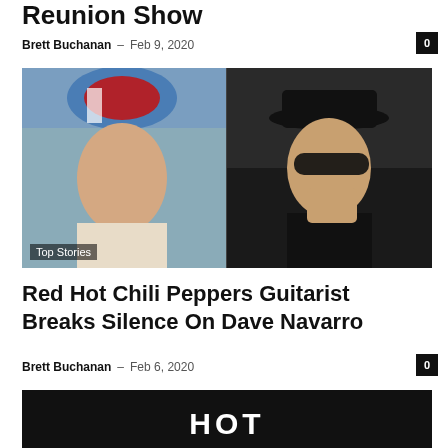Reunion Show
Brett Buchanan – Feb 9, 2020
[Figure (photo): Two-panel photo: left shows a man in a colorful Montreal Expos beanie, right shows a man with black hat and sunglasses. Overlay label: Top Stories]
Red Hot Chili Peppers Guitarist Breaks Silence On Dave Navarro
Brett Buchanan – Feb 6, 2020
[Figure (photo): Dark image showing partial text 'HOT' in white letters on a black background]